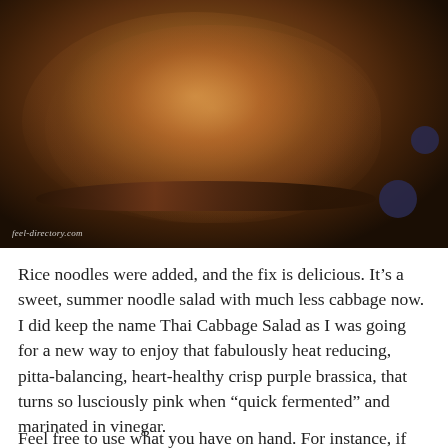[Figure (photo): Close-up photo of a stack of golden-brown pancakes or flatbreads on a dark blue polka-dotted plate/surface, with a warm reddish-orange color and crispy texture. Watermark reads 'feel-directory.com' in bottom left.]
Rice noodles were added, and the fix is delicious. It's a sweet, summer noodle salad with much less cabbage now. I did keep the name Thai Cabbage Salad as I was going for a new way to enjoy that fabulously heat reducing, pitta-balancing, heart-healthy crisp purple brassica, that turns so lusciously pink when “quick fermented” and marinated in vinegar.
Feel free to use what you have on hand. For instance, if